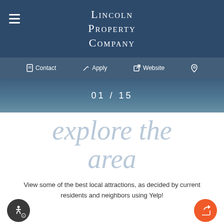Lincoln Property Company
Contact  Apply  Website
01 / 15
explore the area
View some of the best local attractions, as decided by current residents and neighbors using Yelp!